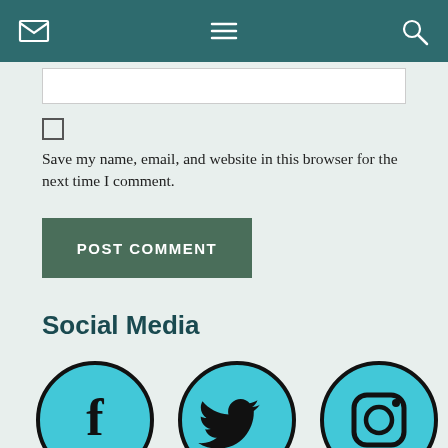[email icon] [menu icon] [search icon]
[text input field]
Save my name, email, and website in this browser for the next time I comment.
POST COMMENT
Social Media
[Figure (illustration): Three circular social media icons: Facebook (f), Twitter (bird), Instagram (camera), each with cyan/light blue fill and dark border]